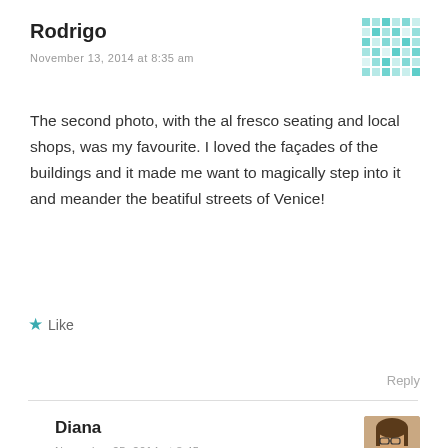Rodrigo
November 13, 2014 at 8:35 am
[Figure (illustration): Green crosshatch / pixel avatar for Rodrigo]
The second photo, with the al fresco seating and local shops, was my favourite. I loved the façades of the buildings and it made me want to magically step into it and meander the beatiful streets of Venice!
★ Like
Reply
Diana
November 25, 2014 at 8:45 am
[Figure (photo): Small profile photo of Diana, a woman with glasses]
Thank you!! It takes you to another world!